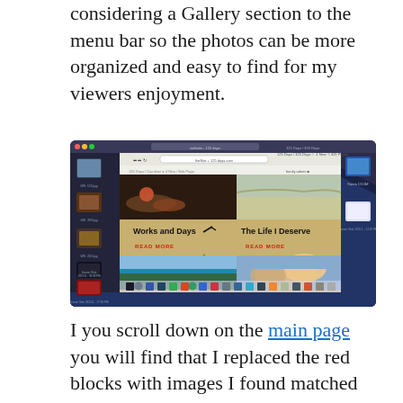considering a Gallery section to the menu bar so the photos can be more organized and easy to find for my viewers enjoyment.
[Figure (screenshot): A macOS desktop screenshot showing a web browser with a photography/blog website open. The website displays blog post cards with titles 'Works and Days' and 'The Life I Deserve', and beach/tropical photos. The macOS Dock is visible at the bottom.]
I you scroll down on the main page you will find that I replaced the red blocks with images I found matched with the different posts I will